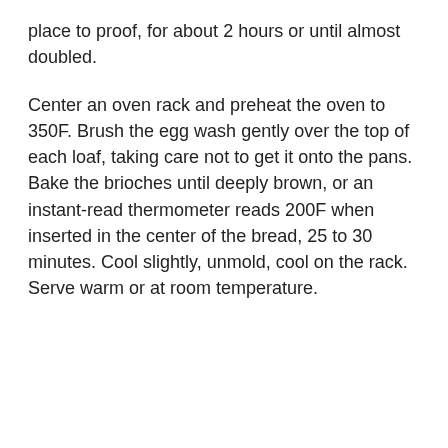place to proof, for about 2 hours or until almost doubled.
Center an oven rack and preheat the oven to 350F. Brush the egg wash gently over the top of each loaf, taking care not to get it onto the pans. Bake the brioches until deeply brown, or an instant-read thermometer reads 200F when inserted in the center of the bread, 25 to 30 minutes. Cool slightly, unmold, cool on the rack. Serve warm or at room temperature.